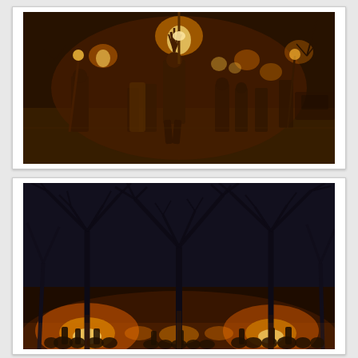[Figure (photo): Nighttime procession of people in costumes and elaborate headdresses walking along a road, carrying burning torches. The central figure wears a tall feathered headdress. Other participants in the background carry more torches illuminating the dark scene with warm orange light.]
[Figure (photo): Nighttime outdoor gathering under bare winter trees. A crowd of silhouetted people stand in the distance around large bonfires or torches, creating a warm orange glow at ground level. The dark tree branches are dramatically lit from below against a dark blue-grey sky.]